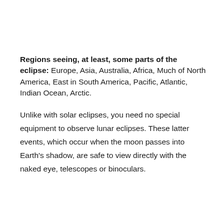Regions seeing, at least, some parts of the eclipse: Europe, Asia, Australia, Africa, Much of North America, East in South America, Pacific, Atlantic, Indian Ocean, Arctic.
Unlike with solar eclipses, you need no special equipment to observe lunar eclipses. These latter events, which occur when the moon passes into Earth's shadow, are safe to view directly with the naked eye, telescopes or binoculars.